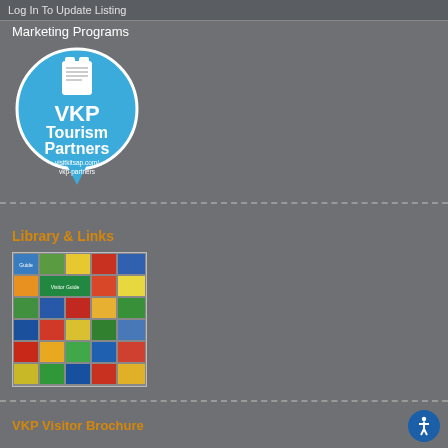Log In To Update Listing
Marketing Programs
[Figure (logo): VKP Tourism Partners circular logo badge in blue with clipboard icon, text 'VKP Tourism Partners visitkitsap.com/vkp-partners']
Library & Links
[Figure (photo): Collage of colorful travel brochures, guides, and visitor publications arranged in a grid]
VKP Visitor Brochure